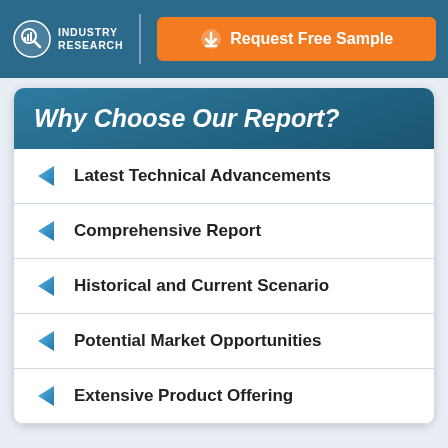INDUSTRY RESEARCH | Request Free Sample
Why Choose Our Report?
Latest Technical Advancements
Comprehensive Report
Historical and Current Scenario
Potential Market Opportunities
Extensive Product Offering